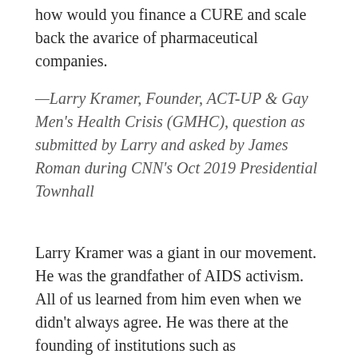how would you finance a CURE and scale back the avarice of pharmaceutical companies.
—Larry Kramer, Founder, ACT-UP & Gay Men's Health Crisis (GMHC), question as submitted by Larry and asked by James Roman during CNN's Oct 2019 Presidential Townhall
Larry Kramer was a giant in our movement. He was the grandfather of AIDS activism. All of us learned from him even when we didn't always agree. He was there at the founding of institutions such as